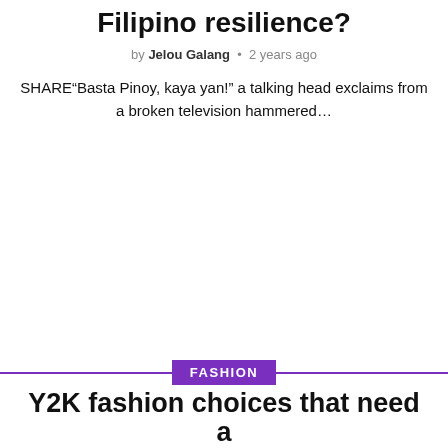Filipino resilience?
by Jelou Galang • 2 years ago
SHARE“Basta Pinoy, kaya yan!” a talking head exclaims from a broken television hammered…
FASHION
Y2K fashion choices that need a